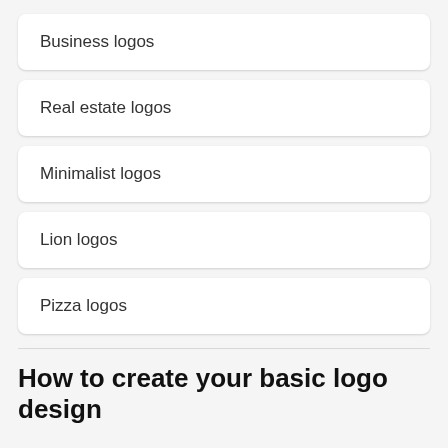Business logos
Real estate logos
Minimalist logos
Lion logos
Pizza logos
How to create your basic logo design